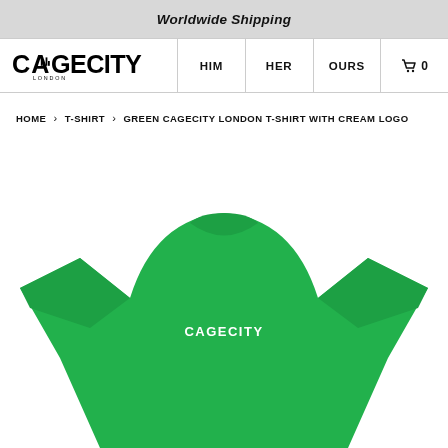Worldwide Shipping
[Figure (logo): CAGECITY LONDON logo in black]
HIM
HER
OURS
Cart 0
HOME > T-SHIRT > GREEN CAGECITY LONDON T-SHIRT WITH CREAM LOGO
[Figure (photo): Back view of a green Cagecity London t-shirt with white/cream CAGECITY logo on the back]